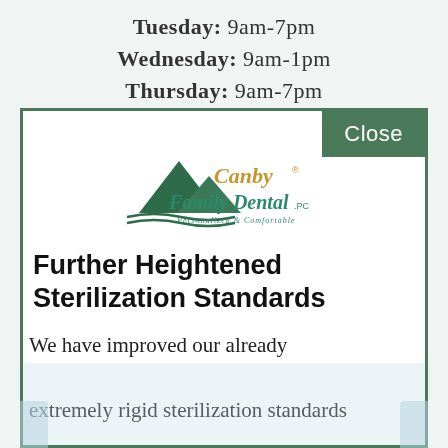Tuesday: 9am-7pm
Wednesday: 9am-1pm
Thursday: 9am-7pm
[Figure (logo): Canby Family Dental PC logo with mountain graphic. Text reads 'Canby' in gold/orange, 'Family Dental. PC' in teal/green, 'Personalized & Comfortable' in small teal text beneath.]
Further Heightened Sterilization Standards
We have improved our already extremely rigid sterilization standards in order to virtually eliminate the